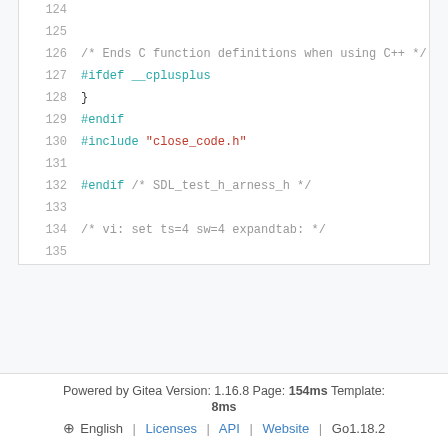[Figure (screenshot): Code viewer showing lines 124-135 of a C header file with syntax highlighting. Lines include comments and preprocessor directives: #ifdef __cplusplus, }, #endif, #include "close_code.h", #endif /* SDL_test_h_arness_h */, /* vi: set ts=4 sw=4 expandtab: */]
Powered by Gitea Version: 1.16.8 Page: 154ms Template: 8ms
⊕ English | Licenses | API | Website | Go1.18.2